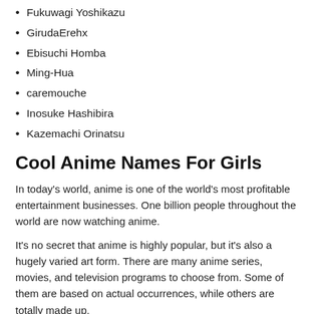Fukuwagi Yoshikazu
GirudaErehx
Ebisuchi Homba
Ming-Hua
caremouche
Inosuke Hashibira
Kazemachi Orinatsu
Cool Anime Names For Girls
In today's world, anime is one of the world's most profitable entertainment businesses. One billion people throughout the world are now watching anime.
It's no secret that anime is highly popular, but it's also a hugely varied art form. There are many anime series, movies, and television programs to choose from. Some of them are based on actual occurrences, while others are totally made up.